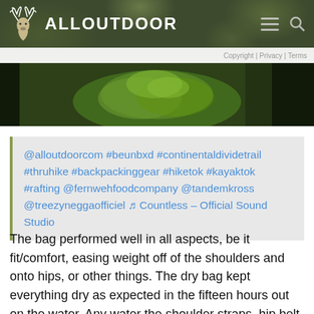ALLOUTDOOR
Copyright | Privacy | Terms
[Figure (photo): Outdoor nature scene with green foliage and forest]
@alloutdoorcom #beunbxd #continentaldividetrail #thruhike #backpackinggear #hiketok #kayaktok #rafting @fernwehfoodcompany @tandemkross @treezyneggaofficiel ♬ Countless – Official Sound Studio
The bag performed well in all aspects, be it fit/comfort, easing weight off of the shoulders and onto hips, or other things. The dry bag kept everything dry as expected in the fifteen hours out on the water. Any water the shoulder straps, hip belt, or other parts of the bag experienced did not seem to affect its performance, nor has the bag really changed colors from sun exposure.